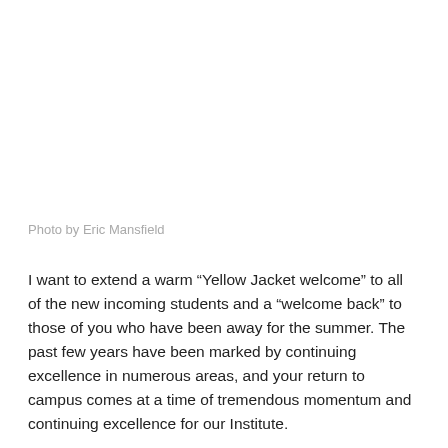Photo by Eric Mansfield
I want to extend a warm “Yellow Jacket welcome” to all of the new incoming students and a “welcome back” to those of you who have been away for the summer. The past few years have been marked by continuing excellence in numerous areas, and your return to campus comes at a time of tremendous momentum and continuing excellence for our Institute.